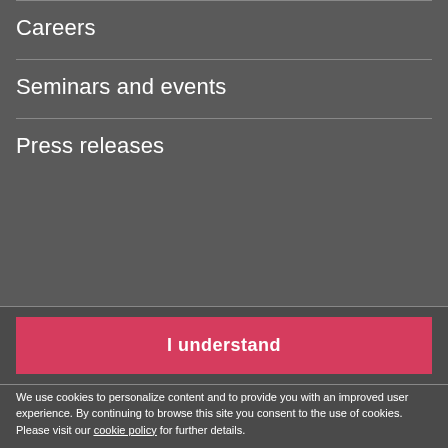Careers
Seminars and events
Press releases
I understand
We use cookies to personalize content and to provide you with an improved user experience. By continuing to browse this site you consent to the use of cookies. Please visit our cookie policy for further details.